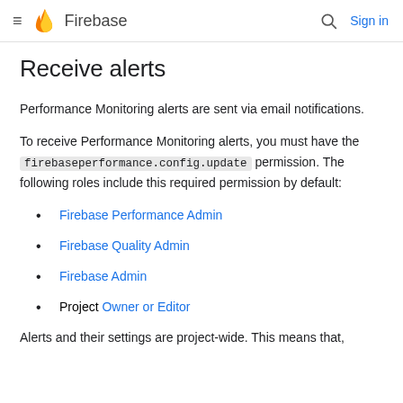Firebase
Receive alerts
Performance Monitoring alerts are sent via email notifications.
To receive Performance Monitoring alerts, you must have the firebaseperformance.config.update permission. The following roles include this required permission by default:
Firebase Performance Admin
Firebase Quality Admin
Firebase Admin
Project Owner or Editor
Alerts and their settings are project-wide. This means that,